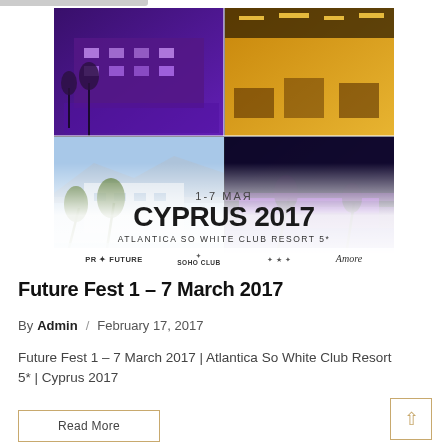[Figure (photo): Promotional collage image for Cyprus 2017 Future Fest event at Atlantica So White Club Resort 5*, dated 1-7 May. Shows resort hotel lit in purple at night (top left), a restaurant/bar interior (top right), hotel exterior with palm trees daytime (bottom left), poolside at night with purple lighting (bottom right). Text overlay reads '1-7 МАЯ CYPRUS 2017 ATLANTICA SO WHITE CLUB RESORT 5*' with sponsor logos: PR Future, Soho Club, and others.]
Future Fest 1 – 7 March 2017
By Admin / February 17, 2017
Future Fest 1 – 7 March 2017 | Atlantica So White Club Resort 5* | Cyprus 2017